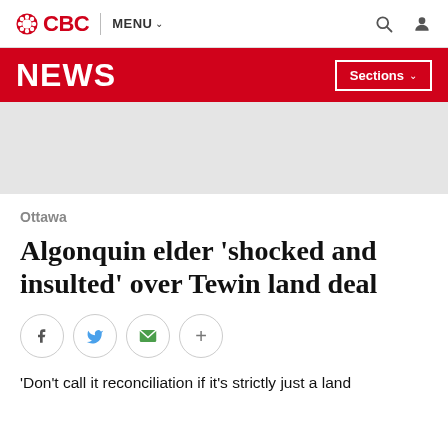CBC | MENU
NEWS | Sections
[Figure (other): Gray advertisement/placeholder area]
Ottawa
Algonquin elder 'shocked and insulted' over Tewin land deal
[Figure (infographic): Social share buttons: Facebook, Twitter, Email, More (+)]
'Don't call it reconciliation if it's strictly just a land